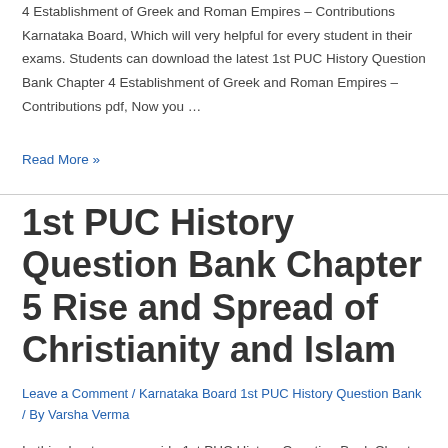4 Establishment of Greek and Roman Empires – Contributions Karnataka Board, Which will very helpful for every student in their exams. Students can download the latest 1st PUC History Question Bank Chapter 4 Establishment of Greek and Roman Empires – Contributions pdf, Now you …
Read More »
1st PUC History Question Bank Chapter 5 Rise and Spread of Christianity and Islam
Leave a Comment / Karnataka Board 1st PUC History Question Bank / By Varsha Verma
In this chapter, we provide 1st PUC History Question Bank Chapter